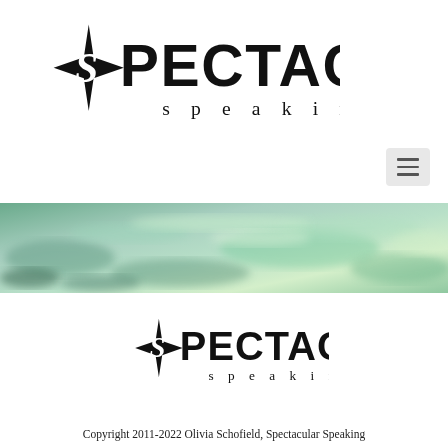[Figure (logo): Spectacular Speaking logo with star/S icon and text SPECTACULAR speaking, large version at top]
[Figure (photo): Horizontal banner image with blurred teal/green water or pond scene, abstract impressionist style]
[Figure (logo): Spectacular Speaking logo with star/S icon and text SPECTACULAR speaking, smaller version in footer area]
Copyright 2011-2022 Olivia Schofield, Spectacular Speaking